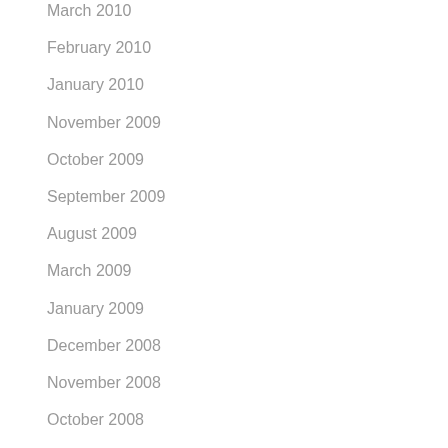March 2010
February 2010
January 2010
November 2009
October 2009
September 2009
August 2009
March 2009
January 2009
December 2008
November 2008
October 2008
September 2008
August 2008